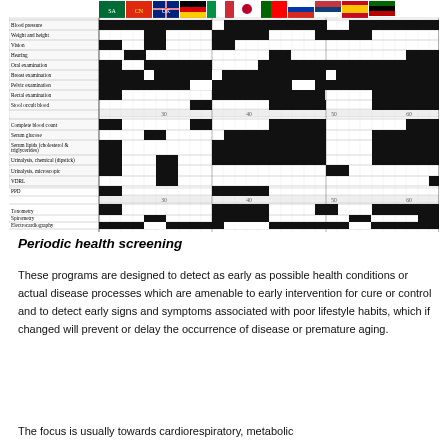[Figure (table-as-image): A health screening schedule chart showing various medical tests (blood pressure, weight and height, vision, hearing, oral examination, breast examination, pelvic examination, rectal examination, stool occult blood, complete blood count, serum glucose, serum lipids, urinalysis chemical, urinalysis microscopic, VDRL, PPD, tonometry, spirometry, electrocardiography, Pap smear, proctosigmoidoscopy, mammography) across age ranges from 30 to 60, with country flags at the top and filled black squares indicating when each test is recommended.]
Periodic health screening
These programs are designed to detect as early as possible health conditions or actual disease processes which are amenable to early intervention for cure or control and to detect early signs and symptoms associated with poor lifestyle habits, which if changed will prevent or delay the occurrence of disease or premature aging.
The focus is usually towards cardiorespiratory, metabolic